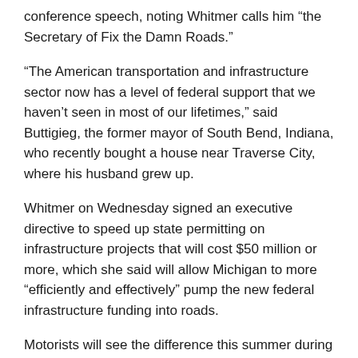conference speech, noting Whitmer calls him “the Secretary of Fix the Damn Roads.”
“The American transportation and infrastructure sector now has a level of federal support that we haven’t seen in most of our lifetimes,” said Buttigieg, the former mayor of South Bend, Indiana, who recently bought a house near Traverse City, where his husband grew up.
Whitmer on Wednesday signed an executive directive to speed up state permitting on infrastructure projects that will cost $50 million or more, which she said will allow Michigan to more “efficiently and effectively” pump the new federal infrastructure funding into roads.
Motorists will see the difference this summer during what she predicted will be “the busiest construction season ever” in Michigan, Whitmer said.
Whitmer this year has vetoed Republican legislation to suspend